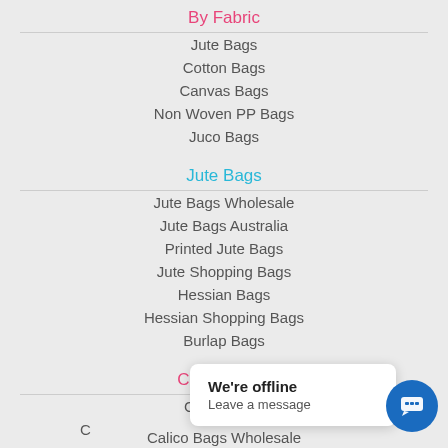By Fabric
Jute Bags
Cotton Bags
Canvas Bags
Non Woven PP Bags
Juco Bags
Jute Bags
Jute Bags Wholesale
Jute Bags Australia
Printed Jute Bags
Jute Shopping Bags
Hessian Bags
Hessian Shopping Bags
Burlap Bags
Cotton Bags
Calico Bags
C...
Calico Bags Wholesale
We're offline
Leave a message